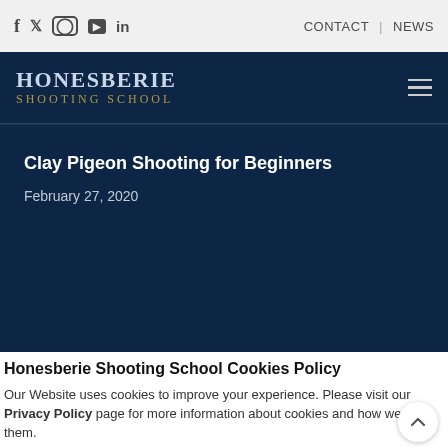f  Twitter  Instagram  YouTube  in    CONTACT  |  NEWS
[Figure (logo): Honesberie Shooting School logo with hamburger menu on dark navy background]
Clay Pigeon Shooting for Beginners
February 27, 2020
2021 All rights reserved. Honesberie Shooting School
Web Design & SEO by Digital Ethos
Honesberie Shooting School Cookies Policy
Our Website uses cookies to improve your experience. Please visit our Privacy Policy page for more information about cookies and how we use them.
Close